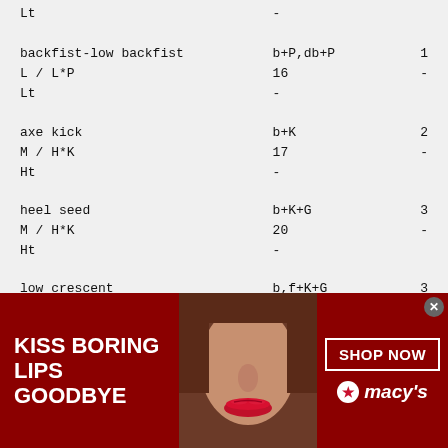| Move | Input | Value |
| --- | --- | --- |
| Lt | - |  |
| backfist-low backfist | b+P,db+P | 1 |
| L / L*P | 16 | - |
| Lt | - |  |
| axe kick | b+K | 2 |
| M / H*K | 17 | - |
| Ht | - |  |
| heel seed | b+K+G | 3 |
| M / H*K | 20 | - |
| Ht | - |  |
| low crescent | b,f+K+G | 3 |
| M / crescent | 17 | - |
| Ht | - |  |
| kickflip | ub+K | 6 |
| M / kickflip | 12 | - |
| Ht | - |  |
| ...stance | d,d |  |
[Figure (photo): Macy's advertisement banner: 'KISS BORING LIPS GOODBYE' with a woman's face and red lips, SHOP NOW button and Macy's logo on dark red background.]